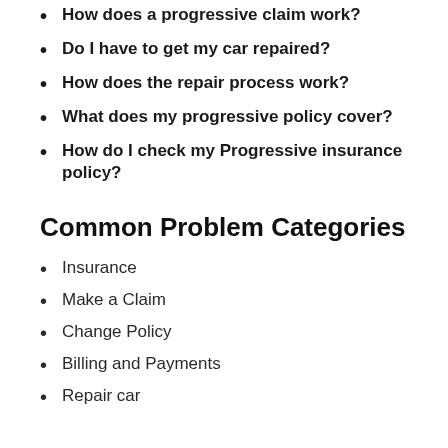How does a progressive claim work?
Do I have to get my car repaired?
How does the repair process work?
What does my progressive policy cover?
How do I check my Progressive insurance policy?
Common Problem Categories
Insurance
Make a Claim
Change Policy
Billing and Payments
Repair car